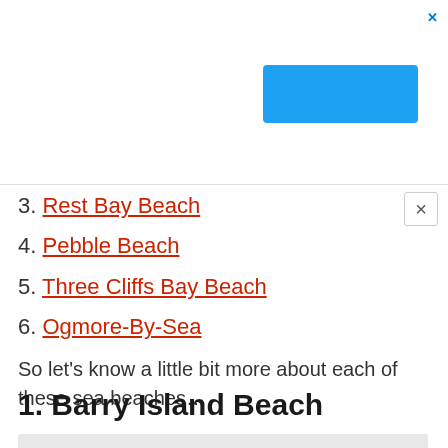[Figure (other): Ad banner with blue button and close X icon]
3. Rest Bay Beach
4. Pebble Beach
5. Three Cliffs Bay Beach
6. Ogmore-By-Sea
So let’s know a little bit more about each of these sea beaches…
1. Barry Island Beach